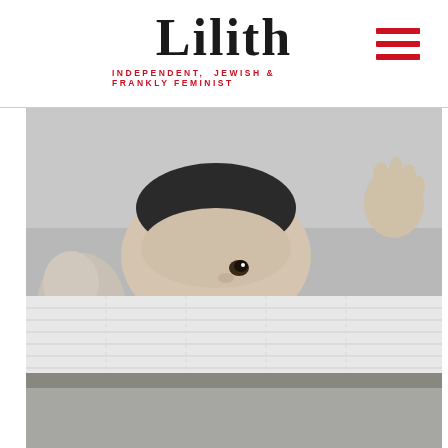Lilith — INDEPENDENT, JEWISH & FRANKLY FEMINIST
[Figure (photo): Black and white photograph of a baby peeking over the edge of a crib mattress, with one hand raised in the upper right corner. The baby's eyes are visible just above the crib rail.]